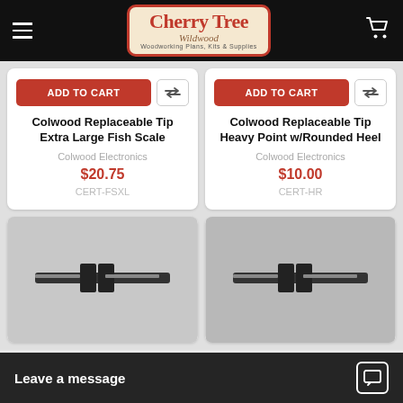Cherry Tree Wildwood — Woodworking Plans, Kits & Supplies
ADD TO CART | Colwood Replaceable Tip Extra Large Fish Scale | Colwood Electronics | $20.75 | CERT-FSXL
ADD TO CART | Colwood Replaceable Tip Heavy Point w/Rounded Heel | Colwood Electronics | $10.00 | CERT-HR
[Figure (photo): Photo of Colwood replaceable tip product (bottom-left card, partially visible)]
[Figure (photo): Photo of Colwood replaceable tip product (bottom-right card, partially visible)]
Leave a message